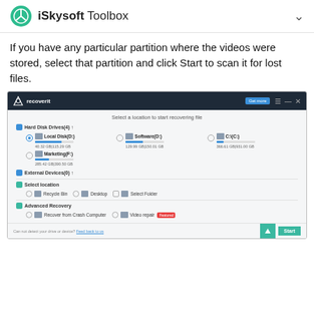iSkysoft Toolbox
If you have any particular partition where the videos were stored, select that partition and click Start to scan it for lost files.
[Figure (screenshot): Screenshot of Recoverit software showing 'Select a location to start recovering file' dialog with Hard Disk Drives, External Devices, Select Location, and Advanced Recovery sections. Shows Local Disk (D:), Software (D:), C:), Marketing (F:), Recycle Bin, Desktop, Select Folder, Recover from Crash Computer, and Video repair options. Start button visible at bottom right.]